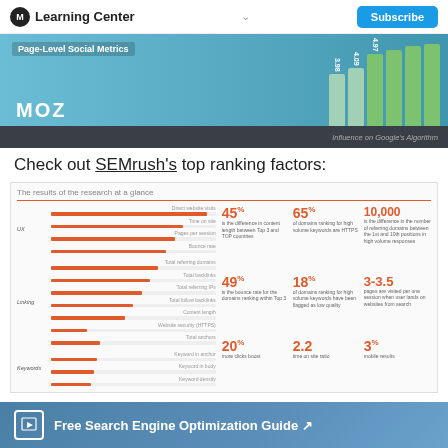Learning Center  Subscribe
[Figure (bar-chart): MOZ bar chart showing influence on Google's Algorithm with values 3.98, 4.09, 4.97]
Check out SEMrush's top ranking factors:
[Figure (infographic): SEMrush research results infographic with horizontal bar chart (UX, Linking, Keywords categories) and statistics: 45%, 65%, 10,000 / 49%, 18%, 3-3.5 / 20%, 2.2, 3%]
Free Search Engine Optimization Guide ↗